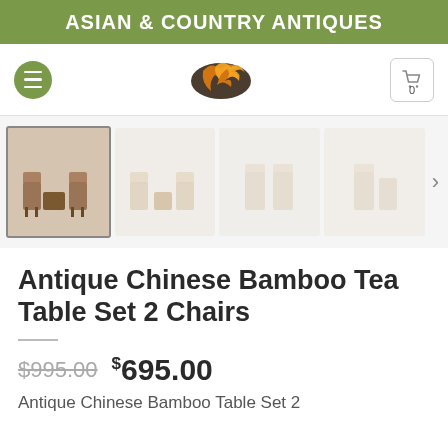ASIAN & COUNTRY ANTIQUES
[Figure (logo): Dragon logo for Asian & Country Antiques website nav bar with hamburger menu and cart button showing 0 items]
[Figure (photo): Thumbnail gallery strip showing 4 images of antique Chinese bamboo tea table set with 2 chairs, first image selected]
Antique Chinese Bamboo Tea Table Set 2 Chairs
$995.00  $695.00
Antique Chinese Bamboo Table Set 2